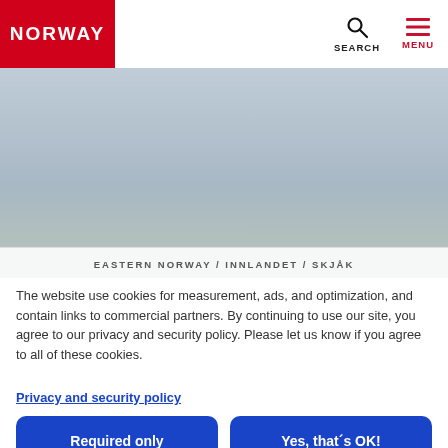NORWAY | SEARCH | MENU
[Figure (screenshot): Background image area showing partial landscape, overlaid with breadcrumb text: EASTERN NORWAY / INNLANDET / SKJÅK]
The website use cookies for measurement, ads, and optimization, and contain links to commercial partners. By continuing to use our site, you agree to our privacy and security policy. Please let us know if you agree to all of these cookies.
Privacy and security policy
Required only
Yes, that´s OK!
Edit settings